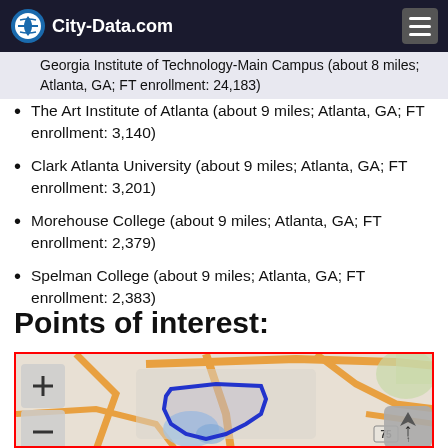City-Data.com
Georgia Institute of Technology-Main Campus (about 8 miles; Atlanta, GA; FT enrollment: 24,183)
The Art Institute of Atlanta (about 9 miles; Atlanta, GA; FT enrollment: 3,140)
Clark Atlanta University (about 9 miles; Atlanta, GA; FT enrollment: 3,201)
Morehouse College (about 9 miles; Atlanta, GA; FT enrollment: 2,379)
Spelman College (about 9 miles; Atlanta, GA; FT enrollment: 2,383)
Points of interest:
[Figure (map): Interactive map showing a neighborhood boundary outlined in blue near Atlanta, GA. Map includes road network, water features, and zoom controls. Highway 75 visible. Map has + and - zoom buttons on the left and a compass/north arrow button on the right.]